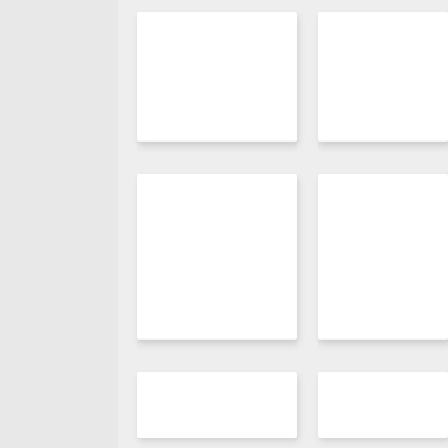[Figure (illustration): UI layout mockup showing a gray left sidebar and a grid of white card panels arranged in two columns on a light gray background. Cards are blank white rectangles with subtle drop shadows, arranged in rows suggesting a dashboard or template layout.]